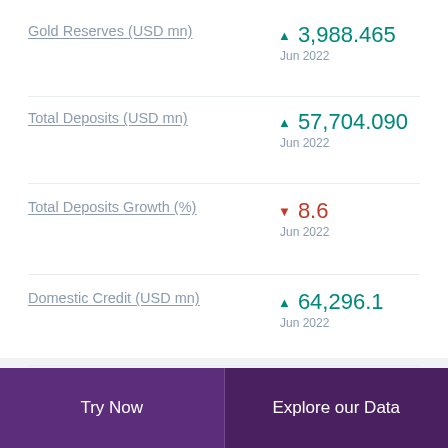Gold Reserves (USD mn) ▲ 3,988.465 Jun 2022
Total Deposits (USD mn) ▲ 57,704.090 Jun 2022
Total Deposits Growth (%) ▼ 8.6 Jun 2022
Domestic Credit (USD mn) ▲ 64,296.1 Jun 2022
Domestic Credit Growth (%) ▲ 8.2 Jun 2022
Try Now | Explore our Data